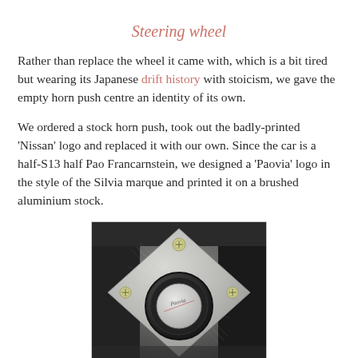Steering wheel
Rather than replace the wheel it came with, which is a bit tired but wearing its Japanese drift history with stoicism, we gave the empty horn push centre an identity of its own.
We ordered a stock horn push, took out the badly-printed 'Nissan' logo and replaced it with our own. Since the car is a half-S13 half Pao Francarnstein, we designed a 'Paovia' logo in the style of the Silvia marque and printed it on a brushed aluminium stock.
[Figure (photo): Close-up photo of a custom horn push on a steering wheel, showing a brushed aluminium plate with a 'Paovia' logo badge in the centre, mounted with screws, on a black steering wheel hub.]